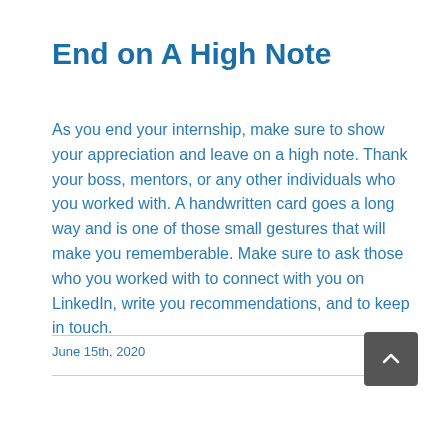End on A High Note
As you end your internship, make sure to show your appreciation and leave on a high note. Thank your boss, mentors, or any other individuals who you worked with. A handwritten card goes a long way and is one of those small gestures that will make you rememberable. Make sure to ask those who you worked with to connect with you on LinkedIn, write you recommendations, and to keep in touch.
June 15th, 2020